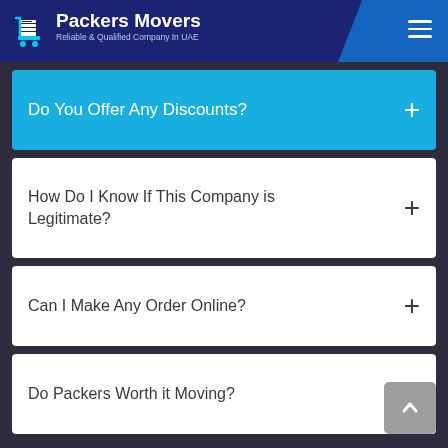Packers Movers — Reliable & Qualified Company In UAE
Do You Offer Any Discounts?
How Do I Know If This Company is Legitimate?
Can I Make Any Order Online?
Do Packers Worth it Moving?